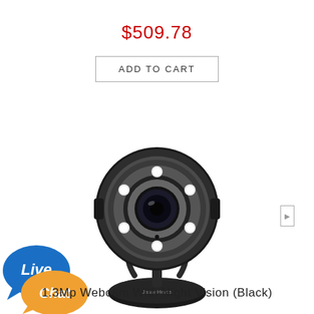$509.78
ADD TO CART
[Figure (photo): A black webcam with 6 LED night vision lights around the lens, mounted on a round base stand, facing forward. Brand name on base appears to be 'JasonHero'.]
[Figure (other): Live Chat button: blue speech bubble with 'Live' text and orange speech bubble with 'Chat' text]
1.3Mp Webcam With Night Vision (Black)